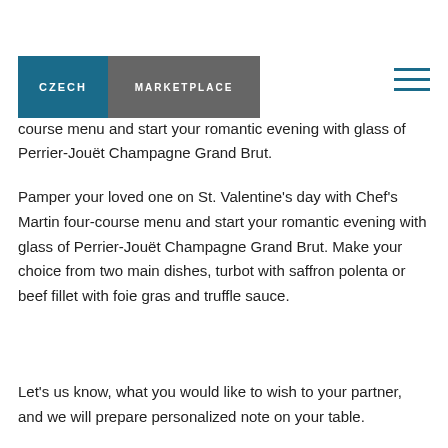[Figure (logo): Czech Marketplace logo with blue and grey background]
course menu and start your romantic evening with glass of Perrier-Jouët Champagne Grand Brut.
Pamper your loved one on St. Valentine's day with Chef's Martin four-course menu and start your romantic evening with glass of Perrier-Jouët Champagne Grand Brut. Make your choice from two main dishes, turbot with saffron polenta or beef fillet with foie gras and truffle sauce.
Let's us know, what you would like to wish to your partner, and we will prepare personalized note on your table.